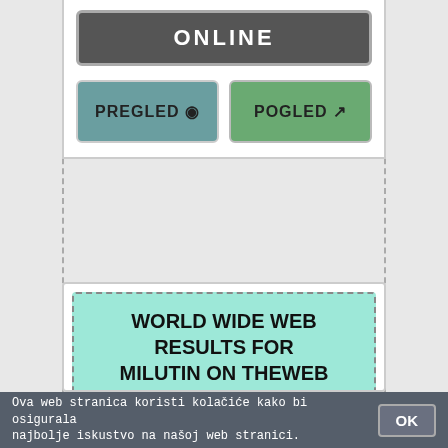[Figure (screenshot): UI card showing ONLINE status bar with teal PREGLED (eye icon) and green POGLED (external link icon) buttons]
[Figure (screenshot): Web search result card showing 'WORLD WIDE WEB RESULTS FOR MILUTIN ON THEWEB' header, URL bar with https://www.theweb.com/search?..., and description text]
TheWeb has all the information located out there. Begin your search here!
Ova web stranica koristi kolačiće kako bi osigurala najbolje iskustvo na našoj web stranici.